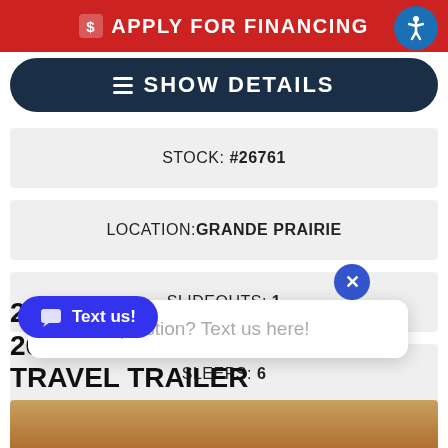[Figure (screenshot): Red Apply for Financing button bar with dollar sign icon]
[Figure (screenshot): Blue circular accessibility icon top right]
[Figure (screenshot): Dark navy Show Details button with hamburger icon]
STOCK: #26761
LOCATION: GRANDE PRAIRIE
SLIDEOUTS: 1
SLEEPS: 6
[Figure (screenshot): White chat popup with X close button showing 'Have a question? Text us here!']
Have a question? Text us here!
2019 JAYCO WHITE HAWK 26SRK TRAVEL TRAILER
[Figure (photo): Bottom strip showing partial image of RV trailer]